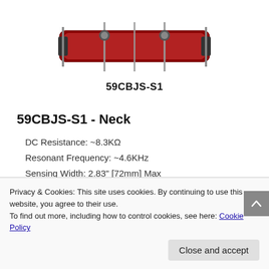[Figure (photo): Red guitar pickup labeled 59CBJS-S1, shown from above with pole pieces and mounting screws]
59CBJS-S1 - Neck
DC Resistance: ~8.3KΩ
Resonant Frequency: ~4.6KHz
Sensing Width: 2.83" [72mm] Max
[Figure (photo): Blue guitar pickup shown from above with pole pieces and mounting screws]
Privacy & Cookies: This site uses cookies. By continuing to use this website, you agree to their use.
To find out more, including how to control cookies, see here: Cookie Policy
Sensing Width: 2.95" [75mm] Max